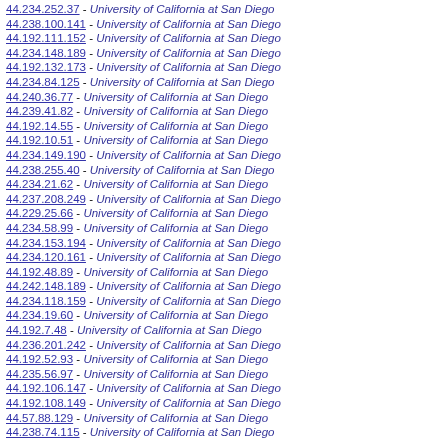44.234.252.37 - University of California at San Diego
44.238.100.141 - University of California at San Diego
44.192.111.152 - University of California at San Diego
44.234.148.189 - University of California at San Diego
44.192.132.173 - University of California at San Diego
44.234.84.125 - University of California at San Diego
44.240.36.77 - University of California at San Diego
44.239.41.82 - University of California at San Diego
44.192.14.55 - University of California at San Diego
44.192.10.51 - University of California at San Diego
44.234.149.190 - University of California at San Diego
44.238.255.40 - University of California at San Diego
44.234.21.62 - University of California at San Diego
44.237.208.249 - University of California at San Diego
44.229.25.66 - University of California at San Diego
44.234.58.99 - University of California at San Diego
44.234.153.194 - University of California at San Diego
44.234.120.161 - University of California at San Diego
44.192.48.89 - University of California at San Diego
44.242.148.189 - University of California at San Diego
44.234.118.159 - University of California at San Diego
44.234.19.60 - University of California at San Diego
44.192.7.48 - University of California at San Diego
44.236.201.242 - University of California at San Diego
44.192.52.93 - University of California at San Diego
44.235.56.97 - University of California at San Diego
44.192.106.147 - University of California at San Diego
44.192.108.149 - University of California at San Diego
44.57.88.129 - University of California at San Diego
44.238.74.115 - University of California at San Diego